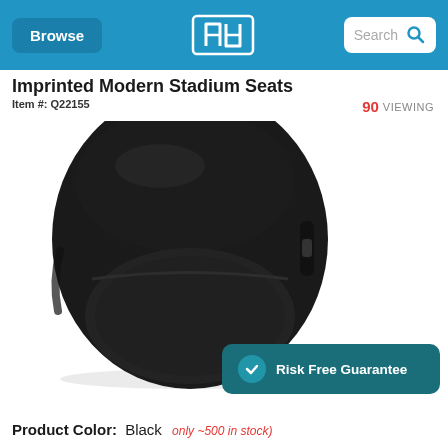Browse | [Logo] | Search
Imprinted Modern Stadium Seats
Item #: Q22155
90 VIEWING
[Figure (photo): A black padded stadium seat cushion with backrest, oval-shaped, viewed from the front/top angle. The seat has a molded foam bottom cushion and a back panel, with a carrying strap visible on the right side.]
Risk Free Guarantee
Product Color: Black  (only ~500 in stock)